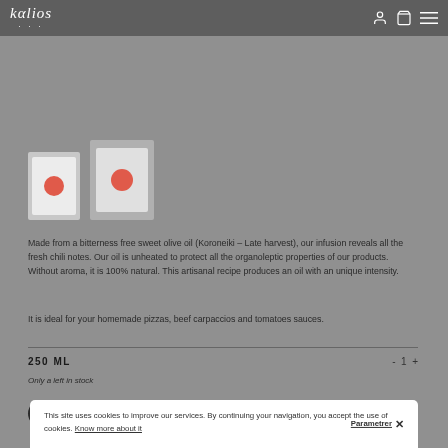kalios
[Figure (photo): Two product thumbnail images of Kalios olive oil bottles with red circle labels]
Made from a bitterness free sweet olive oil (Koroneiki – Late harvest), our infusion reveals all the fresh chili notes. Our oil is unheated to protect all the organoleptic properties of our products. Without aroma, it is 100% natural. This artisanal recipe produces an oil with an unique intensity.
It is ideal for your homemade pizzas, beef carpaccios and tomatoes sauces.
250 ML
Only a left in stock
ADD TO CART
This site uses cookies to improve our services. By continuing your navigation, you accept the use of cookies. Know more about it